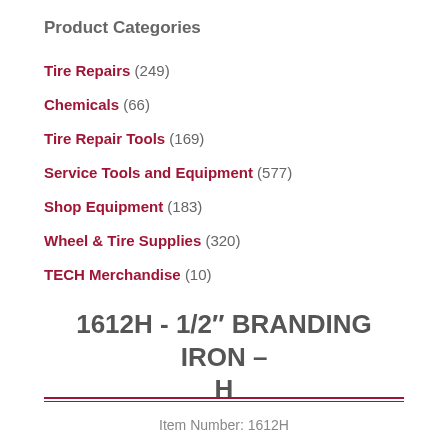Product Categories
Tire Repairs (249)
Chemicals (66)
Tire Repair Tools (169)
Service Tools and Equipment (577)
Shop Equipment (183)
Wheel & Tire Supplies (320)
TECH Merchandise (10)
1612H - 1/2″ BRANDING IRON – H
Item Number: 1612H